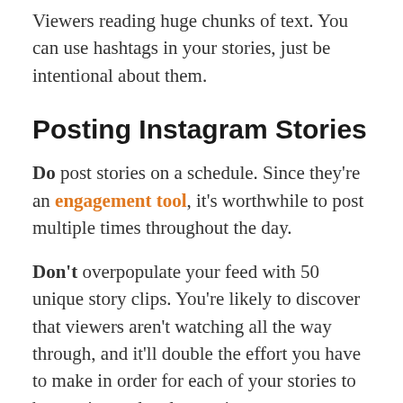Viewers reading huge chunks of text. You can use hashtags in your stories, just be intentional about them.
Posting Instagram Stories
Do post stories on a schedule. Since they're an engagement tool, it's worthwhile to post multiple times throughout the day.
Don't overpopulate your feed with 50 unique story clips. You're likely to discover that viewers aren't watching all the way through, and it'll double the effort you have to make in order for each of your stories to be maximum-level engaging.